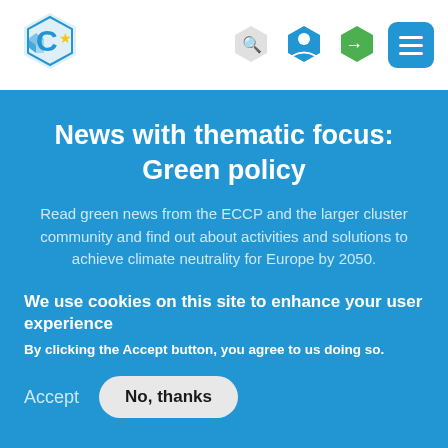[Figure (logo): ECCP cluster logo - hexagonal blue/white C with star icon]
[Figure (other): Navigation icons: search (hexagon), user profile (blue hexagon), login arrow (green hexagon), hamburger menu (blue square)]
News with thematic focus: Green policy
Read green news from the ECCP and the larger cluster community and find out about activities and solutions to achieve climate neutrality for Europe by 2050.
We use cookies on this site to enhance your user experience
By clicking the Accept button, you agree to us doing so.
Accept   No, thanks